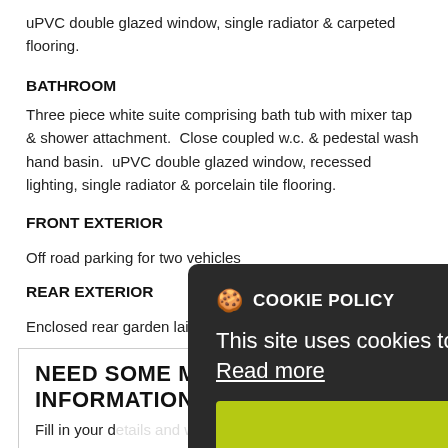uPVC double glazed window, single radiator & carpeted flooring.
BATHROOM
Three piece white suite comprising bath tub with mixer tap & shower attachment. Close coupled w.c. & pedestal wash hand basin. uPVC double glazed window, recessed lighting, single radiator & porcelain tile flooring.
FRONT EXTERIOR
Off road parking for two vehicles
REAR EXTERIOR
Enclosed rear garden laid in lawn with raised decking area.
NEED SOME MORE INFORMATION?
Fill in your details and we'll get back to you.
Your name *
[Figure (screenshot): Cookie policy modal overlay: dark background box with cookie icon, title 'COOKIE POLICY', body text 'This site uses cookies to store information on your computer', a 'Read more' underlined link, and a yellow-green OK button.]